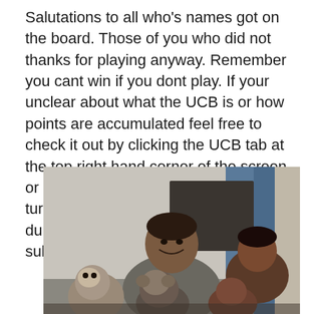Salutations to all who's names got on the board.  Those of you who did not thanks for playing anyway.  Remember you cant win if you dont play.  If your unclear about what the UCB is or how points are accumulated feel free to check it out by clicking the UCB tab at the top right hand corner of the screen or click here.  No submissions are turned away, no matter how small, dumb or serious.  There are no small submissions only small submitters.
[Figure (photo): A smiling man with a woman and children, along with monkeys in the foreground, in what appears to be an indoor setting.]